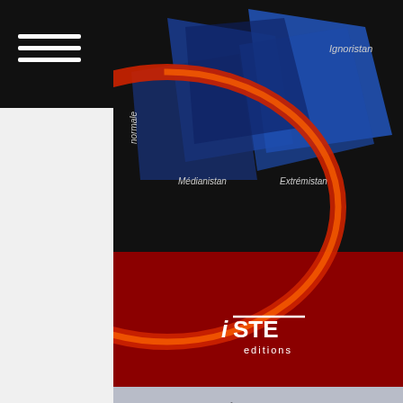[Figure (illustration): Book cover of an ISTE editions book with abstract geometric shapes on dark/crimson background, labels: Ignoristan, Médianistan, Extrémistan]
DES MÊMES AUTEURS
[Figure (illustration): Book cover: Mécanique et incertain by Maurice Lemaire, crimson background with geometric shapes, Collection Génie Mécanique et Mécanique des Solides, Ignoristan label]